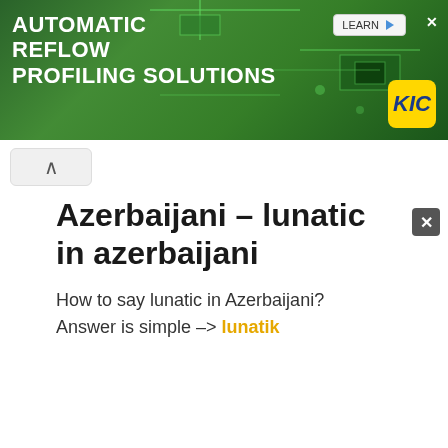[Figure (screenshot): Advertisement banner showing circuit board background with text 'AUTOMATIC REFLOW PROFILING SOLUTIONS' and a KIC logo]
Azerbaijani – lunatic in azerbaijani
How to say lunatic in Azerbaijani? Answer is simple –> lunatik
Basque – lunatic in basque
How to say lunatic in Basque? Answer is simple –> Lunatic